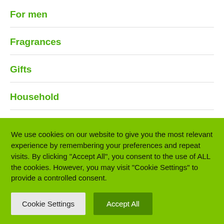For men
Fragrances
Gifts
Household
Incense
Jelly Shower
Natural Remedies
We use cookies on our website to give you the most relevant experience by remembering your preferences and repeat visits. By clicking "Accept All", you consent to the use of ALL the cookies. However, you may visit "Cookie Settings" to provide a controlled consent.
Cookie Settings | Accept All